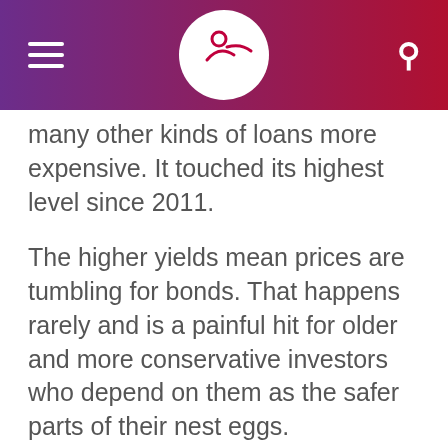[Navigation header with hamburger menu, logo, and search icon]
many other kinds of loans more expensive. It touched its highest level since 2011.
The higher yields mean prices are tumbling for bonds. That happens rarely and is a painful hit for older and more conservative investors who depend on them as the safer parts of their nest eggs.
Some of the biggest hits came for cryptocurrencies, which soared early in the pandemic as ultralow rates encouraged some investors to pile into the riskiest investments.